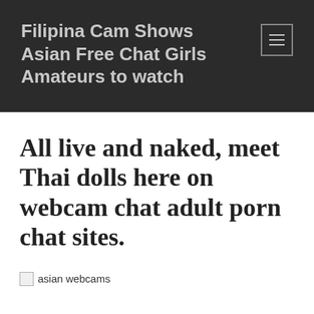Filipina Cam Shows Asian Free Chat Girls Amateurs to watch
All live and naked, meet Thai dolls here on webcam chat adult porn chat sites.
[Figure (photo): Broken image placeholder with alt text 'asian webcams']